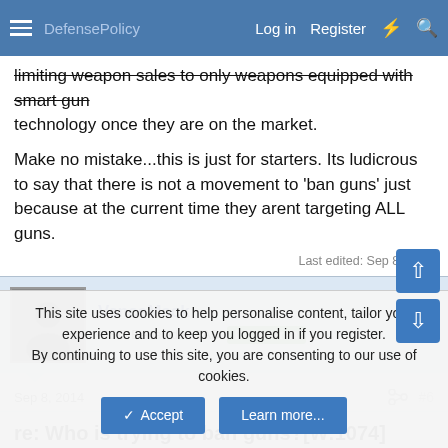Log in  Register
limiting weapon sales to only weapons equipped with smart gun technology once they are on the market.
Make no mistake...this is just for starters. Its ludicrous to say that there is not a movement to 'ban guns' just because at the current time they arent targeting ALL guns.
Last edited: Sep 8, 2014
VanceMack
MSG Benavides TAB  DP Veteran
Sep 8, 2014  #6
re: Who is trying to ban guns?[W:1074]
This site uses cookies to help personalise content, tailor your experience and to keep you logged in if you register.
By continuing to use this site, you are consenting to our use of cookies.